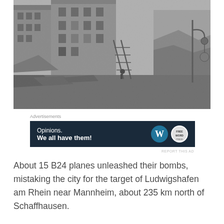[Figure (photo): Black and white historical photograph showing bomb-damaged buildings in a European city, with debris and rubble visible, ladders leaning against damaged structures, a street lamp visible on the right side.]
Advertisements
[Figure (screenshot): Advertisement banner with dark navy background. Text reads 'Opinions. We all have them!' with WordPress logo (W in circle) and another circular brand badge on the right.]
About 15 B24 planes unleashed their bombs, mistaking the city for the target of Ludwigshafen am Rhein near Mannheim, about 235 km north of Schaffhausen.